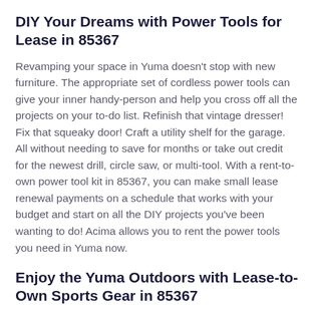DIY Your Dreams with Power Tools for Lease in 85367
Revamping your space in Yuma doesn't stop with new furniture. The appropriate set of cordless power tools can give your inner handy-person and help you cross off all the projects on your to-do list. Refinish that vintage dresser! Fix that squeaky door! Craft a utility shelf for the garage. All without needing to save for months or take out credit for the newest drill, circle saw, or multi-tool. With a rent-to-own power tool kit in 85367, you can make small lease renewal payments on a schedule that works with your budget and start on all the DIY projects you've been wanting to do! Acima allows you to rent the power tools you need in Yuma now.
Enjoy the Yuma Outdoors with Lease-to-Own Sports Gear in 85367
Arizona has so much to offer when it comes to going on adventures. There's something about the warm desert sun and...